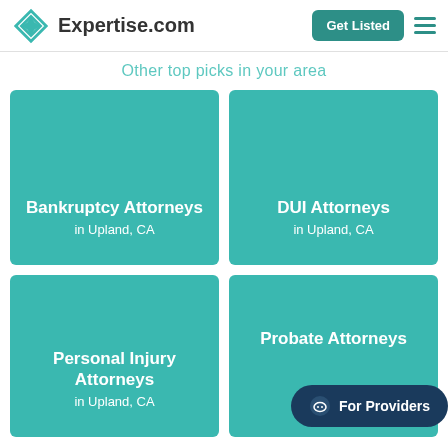Expertise.com
Other top picks in your area
Bankruptcy Attorneys in Upland, CA
DUI Attorneys in Upland, CA
Personal Injury Attorneys in Upland, CA
Probate Attorneys
For Providers